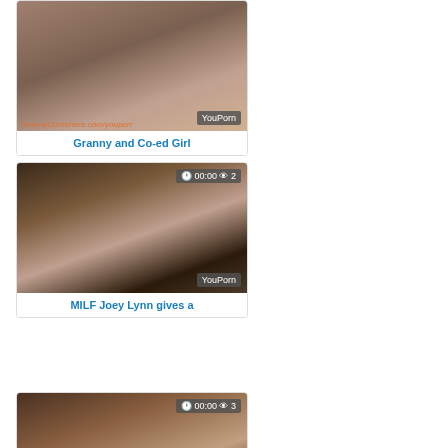[Figure (photo): Video thumbnail card 1 - adult content thumbnail with YouPorn watermark]
Granny and Co-ed Girl
[Figure (photo): Video thumbnail card 2 - adult content thumbnail with 00:00 timer, 2 views, YouPorn watermark]
MILF Joey Lynn gives a
[Figure (photo): Video thumbnail card 3 - adult content thumbnail with 00:00 timer, 3 views]